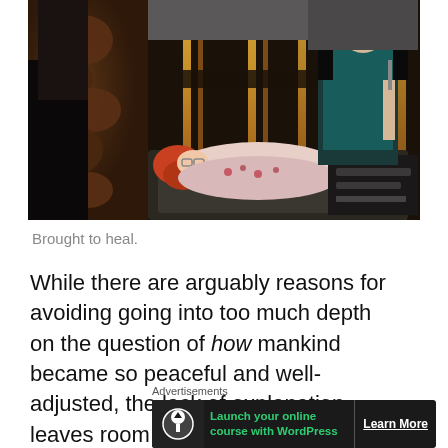[Figure (photo): A scene from a science fiction TV show (Star Trek Voyager) showing a bald man in a teal Starfleet uniform standing over a red-haired woman lying on a medical bed, with ornate alien carvings visible in the background and golden vertical light panels.]
Brought to heal.
While there are arguably reasons for avoiding going into too much depth on the question of how mankind became so peaceful and well-adjusted, the lack of explanation leaves room for certain less charitable suggestions. Most
Advertisements
[Figure (screenshot): Advertisement banner with dark background showing a tree/upload icon, green text reading 'Launch your online course with WordPress', and a 'Learn More' button.]